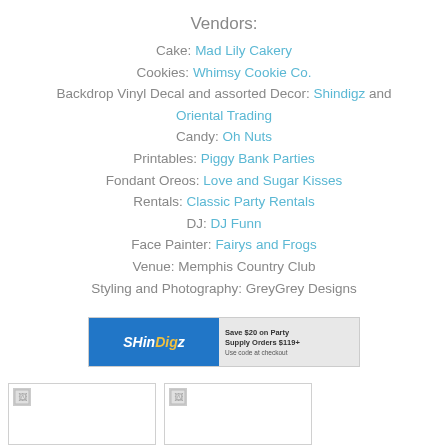Vendors:
Cake: Mad Lily Cakery
Cookies: Whimsy Cookie Co.
Backdrop Vinyl Decal and assorted Decor: Shindigz and Oriental Trading
Candy: Oh Nuts
Printables: Piggy Bank Parties
Fondant Oreos: Love and Sugar Kisses
Rentals: Classic Party Rentals
DJ: DJ Funn
Face Painter: Fairys and Frogs
Venue: Memphis Country Club
Styling and Photography: GreyGrey Designs
[Figure (other): ShinDigz advertisement banner: Save $20 on Party Supply Orders $119+, use code at checkout]
[Figure (photo): Small thumbnail image placeholder (broken image icon, left)]
[Figure (photo): Small thumbnail image placeholder (broken image icon, right)]